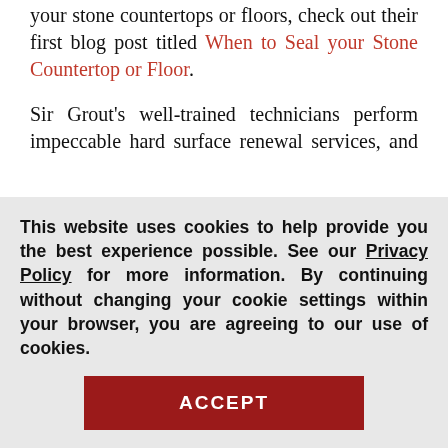your stone countertops or floors, check out their first blog post titled When to Seal your Stone Countertop or Floor.
Sir Grout's well-trained technicians perform impeccable hard surface renewal services, and also take time to instruct customers on the proper care they should use for keeping precious hard surfaces preserved and gleaming. Launching this blog is part of Sir Grout's continuous support to its clients, adding to their exceptional customer service, employee training program and continual
This website uses cookies to help provide you the best experience possible. See our Privacy Policy for more information. By continuing without changing your cookie settings within your browser, you are agreeing to our use of cookies.
ACCEPT